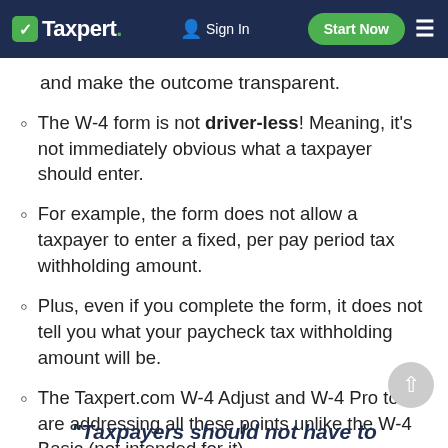Taxpert. | Sign In | Start Now
and make the outcome transparent.
The W-4 form is not driver-less! Meaning, it's not immediately obvious what a taxpayer should enter.
For example, the form does not allow a taxpayer to enter a fixed, per pay period tax withholding amount.
Plus, even if you complete the form, it does not tell you what your paycheck tax withholding amount will be.
The Taxpert.com W-4 Adjust and W-4 Pro tools are addressing all these points unlike the W-4 Basic (not intended for it).
"Taxpayers should not have to